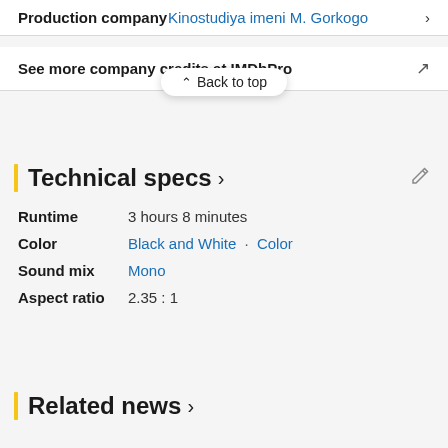Production company  Kinostudiya imeni M. Gorkogo  >
[Figure (screenshot): Back to top popup button with upward chevron icon]
See more company credits at IMDbPro
Technical specs >
Runtime  3 hours 8 minutes
Color  Black and White · Color
Sound mix  Mono
Aspect ratio  2.35 : 1
Related news >